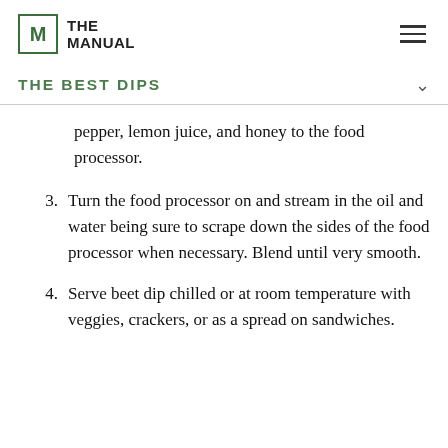THE MANUAL
THE BEST DIPS
pepper, lemon juice, and honey to the food processor.
3. Turn the food processor on and stream in the oil and water being sure to scrape down the sides of the food processor when necessary. Blend until very smooth.
4. Serve beet dip chilled or at room temperature with veggies, crackers, or as a spread on sandwiches.